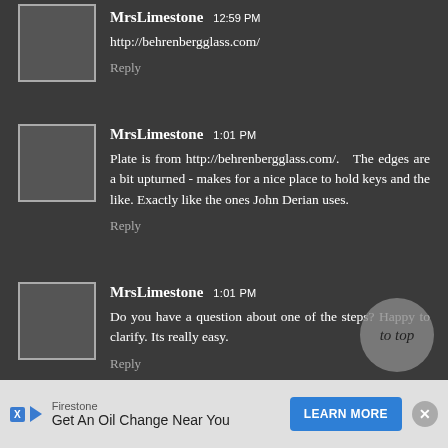http://behrenbergglass.com/
Reply
MrsLimestone 1:01 PM
Plate is from http://behrenbergglass.com/. The edges are a bit upturned - makes for a nice place to hold keys and the like. Exactly like the ones John Derian uses.
Reply
MrsLimestone 1:01 PM
Do you have a question about one of the steps? Happy to clarify. Its really easy.
Reply
[Figure (other): to top circular button]
Firestone Get An Oil Change Near You LEARN MORE